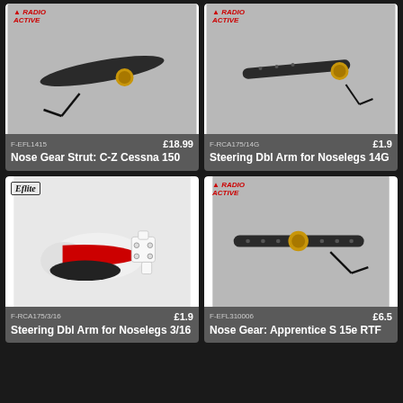[Figure (photo): Nose gear strut part with hex wrench on grey background, RadioActive logo top left]
F-EFL1415
£18.99
Nose Gear Strut: C-Z Cessna 150
[Figure (photo): Steering double arm part with hex wrench on grey background, RadioActive logo top left]
F-RCA175/14G
£1.9
Steering Dbl Arm for Noselegs 14G
[Figure (photo): White and red nose gear assembly with mount bracket, E-flite logo top left]
F-RCA175/3/16
£1.9
Steering Dbl Arm for Noselegs 3/16
[Figure (photo): Large steering double arm for noseleg with hex wrench on grey background, RadioActive logo top left]
F-EFL310006
£6.5
Nose Gear: Apprentice S 15e RTF